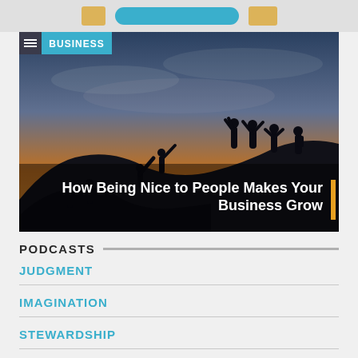[Figure (screenshot): Top navigation bar with teal pill button and icons]
[Figure (photo): Hero image: silhouettes of people helping each other climb a mountain at sunset, with BUSINESS badge top-left and article title overlay at bottom-right]
How Being Nice to People Makes Your Business Grow
PODCASTS
JUDGMENT
IMAGINATION
STEWARDSHIP